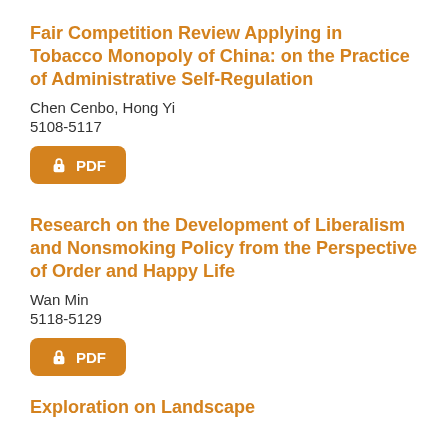Fair Competition Review Applying in Tobacco Monopoly of China: on the Practice of Administrative Self-Regulation
Chen Cenbo, Hong Yi
5108-5117
[Figure (other): Orange PDF download button with lock icon]
Research on the Development of Liberalism and Nonsmoking Policy from the Perspective of Order and Happy Life
Wan Min
5118-5129
[Figure (other): Orange PDF download button with lock icon]
Exploration on Landscape